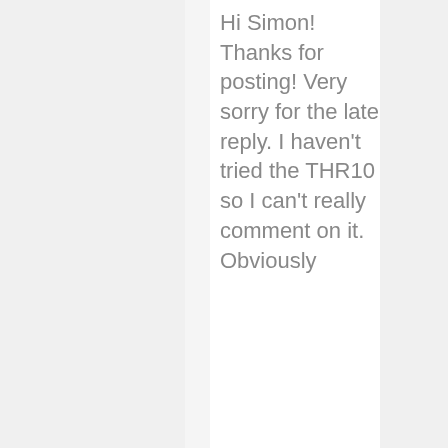Hi Simon! Thanks for posting! Very sorry for the late reply. I haven't tried the THR10 so I can't really comment on it. Obviously HS...